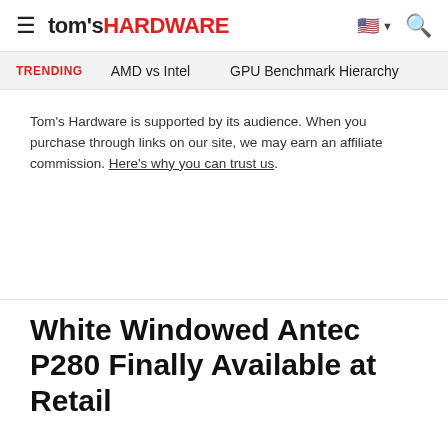tom's HARDWARE
TRENDING  AMD vs Intel  GPU Benchmark Hierarchy
Tom's Hardware is supported by its audience. When you purchase through links on our site, we may earn an affiliate commission. Here's why you can trust us.
White Windowed Antec P280 Finally Available at Retail